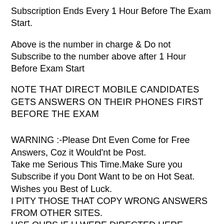Subscription Ends Every 1 Hour Before The Exam Start.
Above is the number in charge & Do not Subscribe to the number above after 1 Hour Before Exam Start
NOTE THAT DIRECT MOBILE CANDIDATES GETS ANSWERS ON THEIR PHONES FIRST BEFORE THE EXAM
WARNING :-Please Dnt Even Come for Free Answers, Coz it Would'nt be Post.
Take me Serious This Time.Make Sure you Subscribe if you Dont Want to be on Hot Seat.
Wishes you Best of Luck.
I PITY THOSE THAT COPY WRONG ANSWERS FROM OTHER SITES.
USE OURS IF U WERE DIRECTED HERE